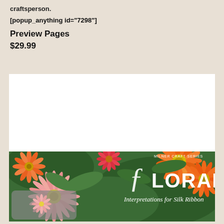craftsperson.
[popup_anything id="7298"]
Preview Pages
$29.99
[Figure (photo): Book cover for 'Floral Interpretations for Silk Ribbon' from the Milner Craft Series, featuring colorful flowers (gerbera daisies in pink, orange, and yellow) on a green background, with decorative script text for the title.]